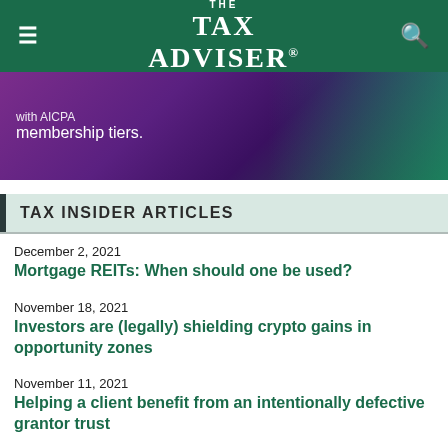THE TAX ADVISER
[Figure (photo): Advertisement banner with text 'with AICPA membership tiers.' and a woman in the background on a purple/teal gradient background]
TAX INSIDER ARTICLES
December 2, 2021
Mortgage REITs: When should one be used?
November 18, 2021
Investors are (legally) shielding crypto gains in opportunity zones
November 11, 2021
Helping a client benefit from an intentionally defective grantor trust
November 4, 2021